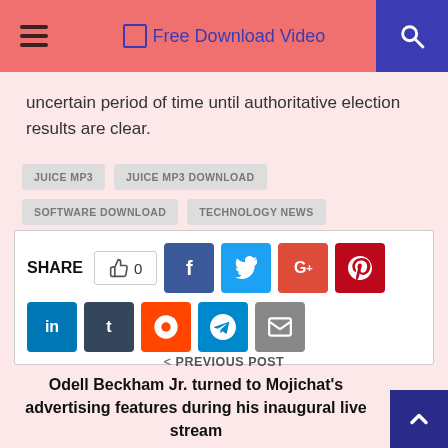Free Download Video
uncertain period of time until authoritative election results are clear.
JUICE MP3
JUICE MP3 DOWNLOAD
SOFTWARE DOWNLOAD
TECHNOLOGY NEWS
[Figure (other): Social share buttons: like count 0, Facebook, Twitter, Google+, Pinterest, LinkedIn, Tumblr, Reddit, Telegram, Email]
< PREVIOUS POST
Odell Beckham Jr. turned to Mojichat's advertising features during his inaugural live stream